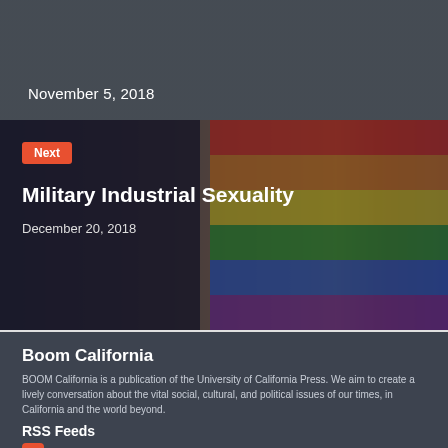November 5, 2018
[Figure (photo): Background photo of a dark forest/trees with an overlay, with Pride rainbow flag image blended in]
Next
Military Industrial Sexuality
December 20, 2018
Boom California
BOOM California is a publication of the University of California Press. We aim to create a lively conversation about the vital social, cultural, and political issues of our times, in California and the world beyond.
RSS Feeds